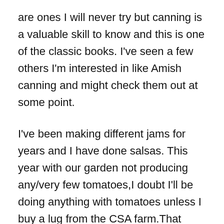are ones I will never try but canning is a valuable skill to know and this is one of the classic books. I’ve seen a few others I’m interested in like Amish canning and might check them out at some point.
I’ve been making different jams for years and I have done salsas. This year with our garden not producing any/very few tomatoes,I doubt I’ll be doing anything with tomatoes unless I buy a lug from the CSA farm.That could end up too expensive but I might check with them as to a price.